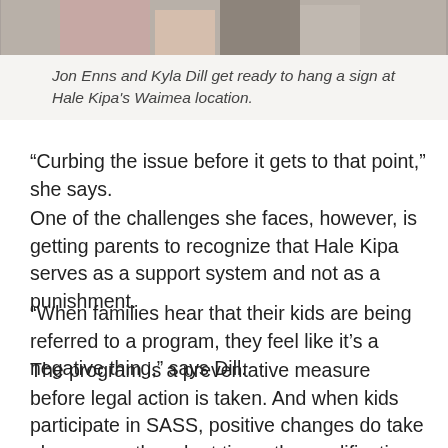[Figure (photo): Partial photo of Jon Enns and Kyla Dill getting ready to hang a sign at Hale Kipa's Waimea location, only the bottom portion of the image is visible.]
Jon Enns and Kyla Dill get ready to hang a sign at Hale Kipa's Waimea location.
“Curbing the issue before it gets to that point,” she says.
One of the challenges she faces, however, is getting parents to recognize that Hale Kipa serves as a support system and not as a punishment.
“When families hear that their kids are being referred to a program, they feel like it’s a negative thing,” says Dill.
The program is a preventative measure before legal action is taken. And when kids participate in SASS, positive changes do take place, even though at times the modifications may seem minor because issues usually run much deeper than what she and Enns can address.